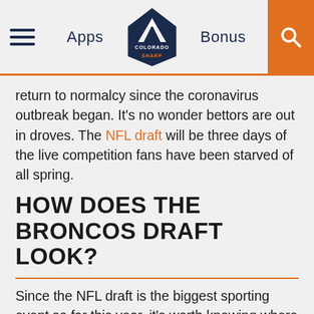Apps | Colorado Sharp (logo) | Bonus | Search
return to normalcy since the coronavirus outbreak began. It's no wonder bettors are out in droves. The NFL draft will be three days of the live competition fans have been starved of all spring.
HOW DOES THE BRONCOS DRAFT LOOK?
Since the NFL draft is the biggest sporting event so far this year, it's worth knowing where the Broncos stand. Especially after a disappointing 2019 season (see the Vikings game where the Broncos threw a 20 point lead away) the Broncos need to use their draft picks wisely. Five of their choices are in the top 100, so the Broncos have some room to onboard some serious talent. Two big names being floated are: